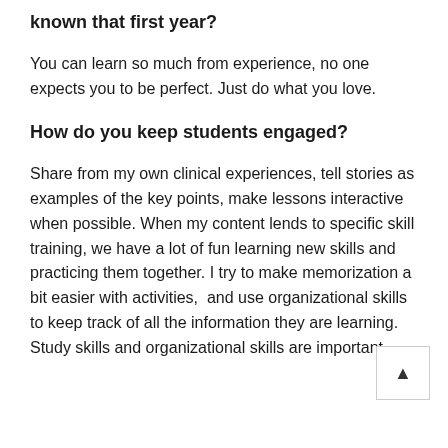known that first year?
You can learn so much from experience, no one expects you to be perfect. Just do what you love.
How do you keep students engaged?
Share from my own clinical experiences, tell stories as examples of the key points, make lessons interactive when possible. When my content lends to specific skill training, we have a lot of fun learning new skills and practicing them together. I try to make memorization a bit easier with activities,  and use organizational skills to keep track of all the information they are learning. Study skills and organizational skills are important.